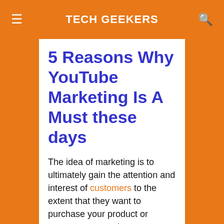TECH GEEKERS
5 Reasons Why YouTube Marketing Is A Must these days
The idea of marketing is to ultimately gain the attention and interest of customers to the extent that they want to purchase your product or engage your services.
However, talk is cheap and most people would instead not read up a lot of grammar.
Nowadays, people go to the internet to not only find the solutions to problems but to see